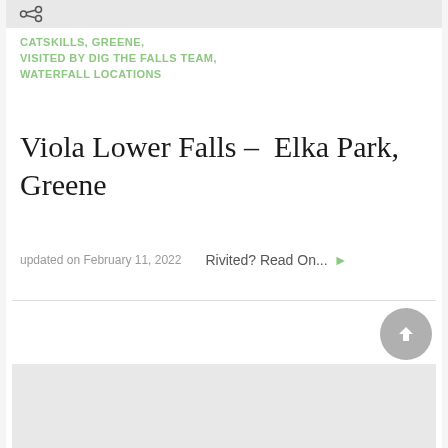[Figure (screenshot): Top navigation bar with share/link icon on gray background]
CATSKILLS,  GREENE,
VISITED BY DIG THE FALLS TEAM,
WATERFALL LOCATIONS
Viola Lower Falls – Elka Park, Greene
updated on February 11, 2022    Rivited? Read On...
[Figure (screenshot): Bottom image placeholder with gray background]